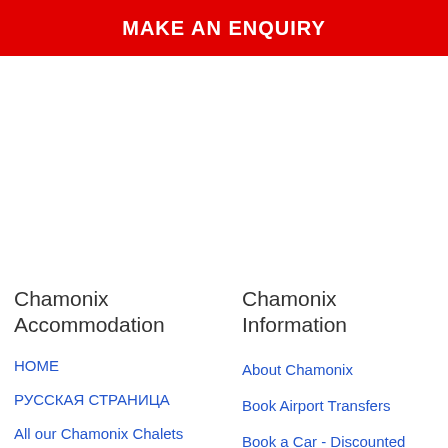MAKE AN ENQUIRY
Chamonix Accommodation
HOME
РУССКАЯ СТРАНИЦА
All our Chamonix Chalets
Catered Chalets
Self-Catered Chalets
Chamonix Information
About Chamonix
Book Airport Transfers
Book a Car - Discounted
Book a Chalet
Book Ski Passes